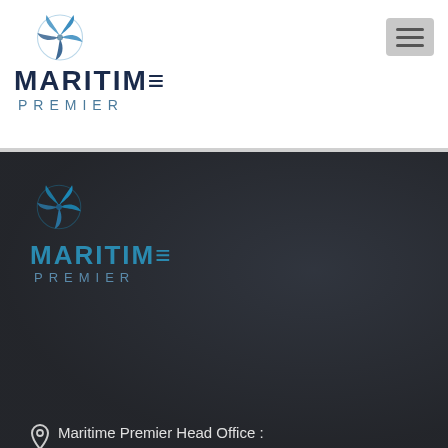[Figure (logo): Maritime Premier logo with star/compass icon above bold MARITIME text and PREMIER subtitle, in dark navy and steel blue, on white background]
[Figure (screenshot): Hamburger menu button (three horizontal lines) on light grey rounded rectangle background]
[Figure (logo): Maritime Premier logo repeated on dark background section, compass star icon in blue tones, MARITIME in blue, PREMIER in muted blue]
Maritime Premier Head Office : 6 Kings Field Road Kings Heath B14 7 JN
+44 01217298185
+44 7723335464